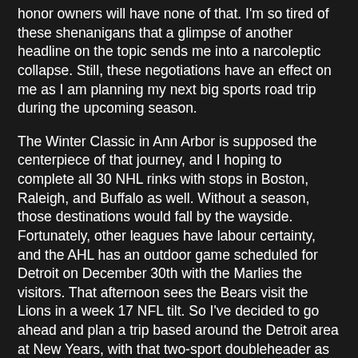honor owners will have none of that. I'm so tired of these shenanigans that a glimpse of another headline on the topic sends me into a narcoleptic collapse. Still, these negotiations have an effect on me as I am planning my next big sports road trip during the upcoming season.
The Winter Classic in Ann Arbor is supposed the centerpiece of that journey, and I hoping to complete all 30 NHL rinks with stops in Boston, Raleigh, and Buffalo as well. Without a season, those destinations would fall by the wayside. Fortunately, other leagues have labour certainty, and the AHL has an outdoor game scheduled for Detroit on December 30th with the Marlies the visitors. That afternoon sees the Bears visit the Lions in a week 17 NFL tilt. So I've decided to go ahead and plan a trip based around the Detroit area at New Years, with that two-sport doubleheader as the centrepiece. If the NHL comes to its senses, I'll see the Winter Classic two days later; if not, then those three NHL rinks will remain unvisited as I will be boycotting the league for a very, very, long time.
What I expect to happen is for the NHL to follow the NBA model from last season; a relatively short lockout to score...